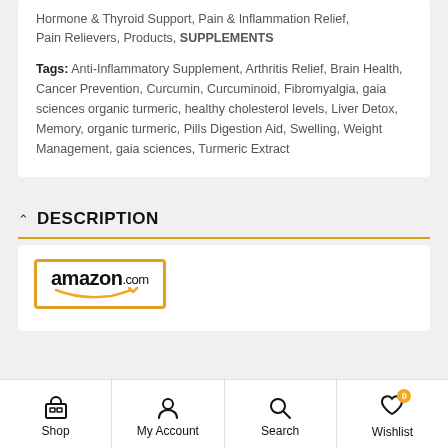Hormone & Thyroid Support, Pain & Inflammation Relief, Pain Relievers, Products, SUPPLEMENTS
Tags: Anti-Inflammatory Supplement, Arthritis Relief, Brain Health, Cancer Prevention, Curcumin, Curcuminoid, Fibromyalgia, gaia sciences organic turmeric, healthy cholesterol levels, Liver Detox, Memory, organic turmeric, Pills Digestion Aid, Swelling, Weight Management, gaia sciences, Turmeric Extract
DESCRIPTION
[Figure (logo): Amazon.com logo in an orange-bordered rectangle with smile arrow underneath]
Shop | My Account | Search | Wishlist